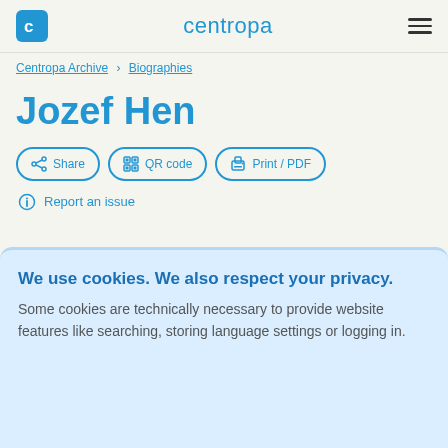centropa
Centropa Archive > Biographies
Jozef Hen
Share   QR code   Print / PDF
Report an issue
We use cookies. We also respect your privacy.
Some cookies are technically necessary to provide website features like searching, storing language settings or logging in.